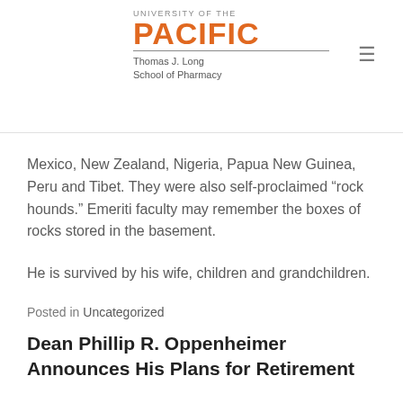UNIVERSITY OF THE PACIFIC Thomas J. Long School of Pharmacy
Mexico, New Zealand, Nigeria, Papua New Guinea, Peru and Tibet. They were also self-proclaimed “rock hounds.” Emeriti faculty may remember the boxes of rocks stored in the basement.
He is survived by his wife, children and grandchildren.
Posted in Uncategorized
Dean Phillip R. Oppenheimer Announces His Plans for Retirement